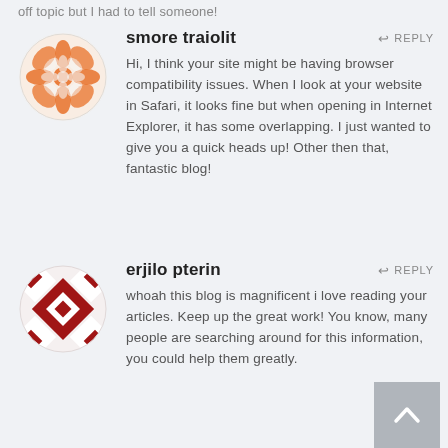off topic but I had to tell someone!
smore traiolit
REPLY
Hi, I think your site might be having browser compatibility issues. When I look at your website in Safari, it looks fine but when opening in Internet Explorer, it has some overlapping. I just wanted to give you a quick heads up! Other then that, fantastic blog!
erjilo pterin
REPLY
whoah this blog is magnificent i love reading your articles. Keep up the great work! You know, many people are searching around for this information, you could help them greatly.